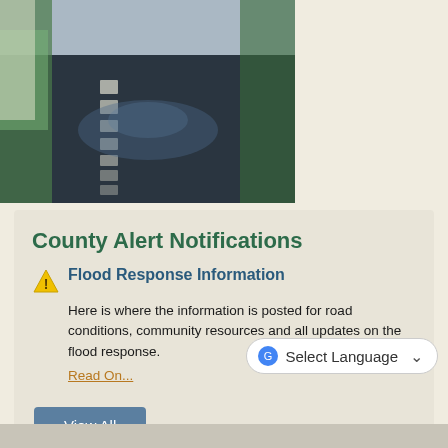[Figure (photo): Flood photo: wet road with white line markings visible; tarp-covered structure on left, trees/greenery on right, overcast sky.]
County Alert Notifications
Flood Response Information
Here is where the information is posted for road conditions, community resources and all updates on the flood response.
Read On...
View All
Notify Me®
Select Language